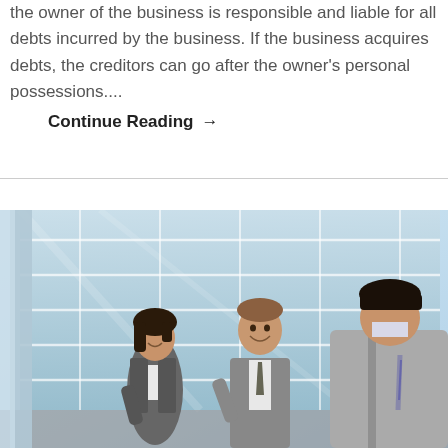the owner of the business is responsible and liable for all debts incurred by the business. If the business acquires debts, the creditors can go after the owner's personal possessions....
Continue Reading →
[Figure (photo): Three business professionals in suits standing and talking outside a modern glass office building. A woman on the left, a smiling man in the center, and another man on the right facing away from the viewer.]